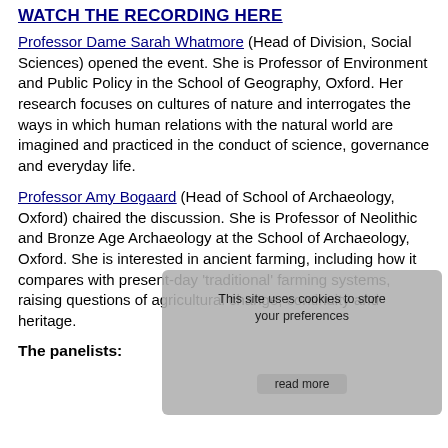WATCH THE RECORDING HERE
Professor Dame Sarah Whatmore (Head of Division, Social Sciences) opened the event. She is Professor of Environment and Public Policy in the School of Geography, Oxford. Her research focuses on cultures of nature and interrogates the ways in which human relations with the natural world are imagined and practiced in the conduct of science, governance and everyday life.
Professor Amy Bogaard (Head of School of Archaeology, Oxford) chaired the discussion. She is Professor of Neolithic and Bronze Age Archaeology at the School of Archaeology, Oxford. She is interested in ancient farming, including how it compares with present-day 'traditional' farming systems, raising questions of agricultural change, continuity and heritage.
The panelists: